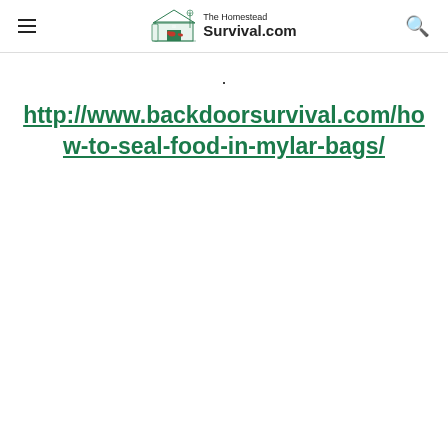The Homestead Survival.com
.
http://www.backdoorsurvival.com/how-to-seal-food-in-mylar-bags/